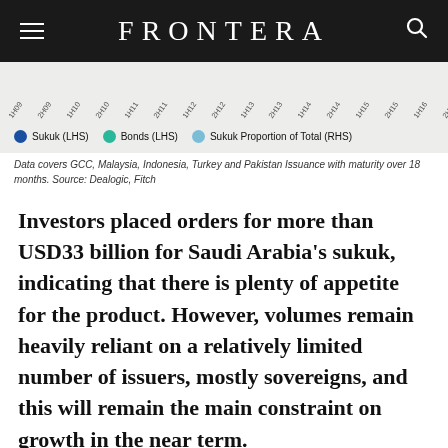FRONTERA
[Figure (other): Partial x-axis of a chart showing semi-annual time labels from 1H09 to 1H17* with legend: Sukuk (LHS), Bonds (LHS), Sukuk Proportion of Total (RHS)]
Data covers GCC, Malaysia, Indonesia, Turkey and Pakistan Issuance with maturity over 18 months. Source: Dealogic, Fitch
Investors placed orders for more than USD33 billion for Saudi Arabia's sukuk, indicating that there is plenty of appetite for the product. However, volumes remain heavily reliant on a relatively limited number of issuers, mostly sovereigns, and this will remain the main constraint on growth in the near term.